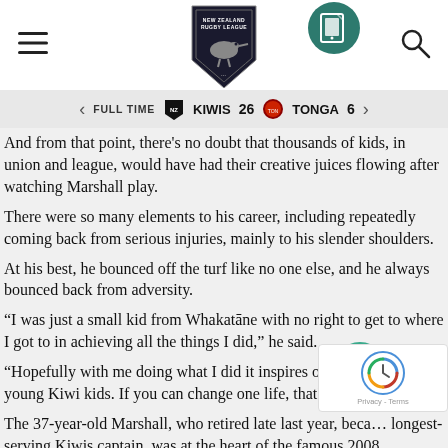[Figure (logo): New Zealand Rugby League shield logo with kiwi bird]
[Figure (logo): Circular icon with tablet/screen graphic]
[Figure (other): Hamburger menu icon (three horizontal lines)]
[Figure (other): Search magnifying glass icon]
FULL TIME   KIWIS 26   TONGA 6
And from that point, there’s no doubt that thousands of kids, in union and league, would have had their creative juices flowing after watching Marshall play.
There were so many elements to his career, including repeatedly coming back from serious injuries, mainly to his slender shoulders.
At his best, he bounced off the turf like no one else, and he always bounced back from adversity.
“I was just a small kid from Whakatāne with no right to get to where I got to in achieving all the things I did,” he said.
“Hopefully with me doing what I did it inspires others, especially young Kiwi kids. If you can change one life, that’s enough…
The 37-year-old Marshall, who retired late last year, beca… longest-serving Kiwis captain, was at the heart of the famous 2008…